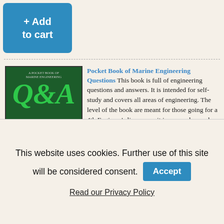[Figure (other): Blue 'Add to cart' button at top left]
[Figure (illustration): Book cover: A Pocket Book of Marine Engineering Q&A, dark green cover with large Q&A text]
Pocket Book of Marine Engineering Questions This book is full of engineering questions and answers. It is intended for self-study and covers all areas of engineering. The level of the book are meant for those going for a 4th Engineer's license, so it is more advanced than SVMO level, but nonetheless quite useful. It is a good way to quiz yourself, and if you can answer these questions than SVMO will
A Pocket Book of Marine Engineering Questions & Answers – English+Softcover+2009
$49.95
This website uses cookies. Further use of this site will be considered consent.
Accept
Read our Privacy Policy